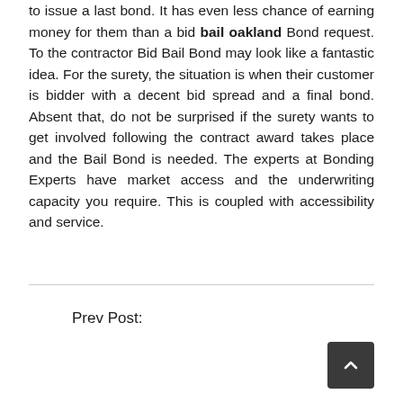to issue a last bond. It has even less chance of earning money for them than a bid bail oakland Bond request. To the contractor Bid Bail Bond may look like a fantastic idea. For the surety, the situation is when their customer is bidder with a decent bid spread and a final bond. Absent that, do not be surprised if the surety wants to get involved following the contract award takes place and the Bail Bond is needed. The experts at Bonding Experts have market access and the underwriting capacity you require. This is coupled with accessibility and service.
Prev Post: